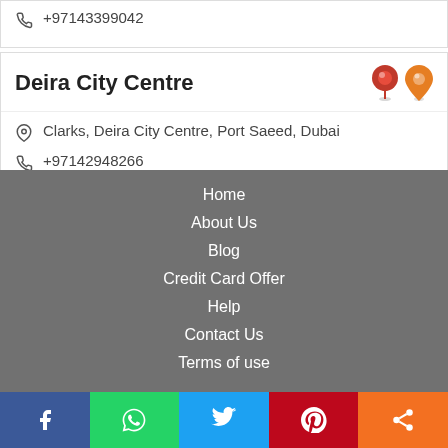+97143399042
Deira City Centre
Clarks, Deira City Centre, Port Saeed, Dubai
+97142948266
1
2
3
4
5
Home
About Us
Blog
Credit Card Offer
Help
Contact Us
Terms of use